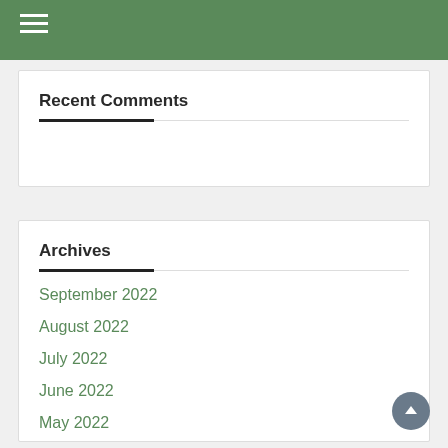Navigation header with hamburger menu
Recent Comments
Archives
September 2022
August 2022
July 2022
June 2022
May 2022